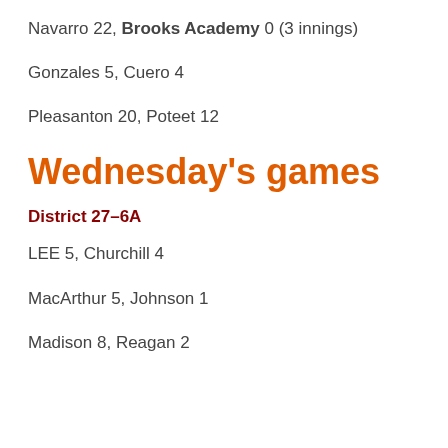Navarro 22, Brooks Academy 0 (3 innings)
Gonzales 5, Cuero 4
Pleasanton 20, Poteet 12
Wednesday's games
District 27–6A
LEE 5, Churchill 4
MacArthur 5, Johnson 1
Madison 8, Reagan 2